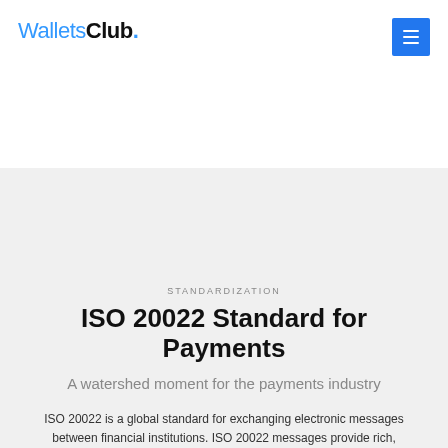WalletsClub.
STANDARDIZATION
ISO 20022 Standard for Payments
A watershed moment for the payments industry
ISO 20022 is a global standard for exchanging electronic messages between financial institutions. ISO 20022 messages provide rich,